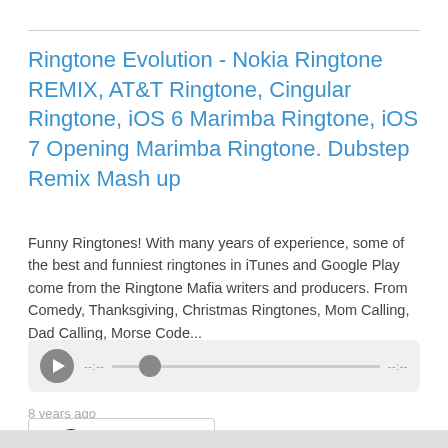Ringtone Evolution - Nokia Ringtone REMIX, AT&T Ringtone, Cingular Ringtone, iOS 6 Marimba Ringtone, iOS 7 Opening Marimba Ringtone. Dubstep Remix Mash up
Funny Ringtones! With many years of experience, some of the best and funniest ringtones in iTunes and Google Play come from the Ringtone Mafia writers and producers. From Comedy, Thanksgiving, Christmas Ringtones, Mom Calling, Dad Calling, Morse Code... more
[Figure (other): Audio player with play button, progress bar, and time indicators showing --:-- on left and --:-- on right]
8 years ago
More Episodes